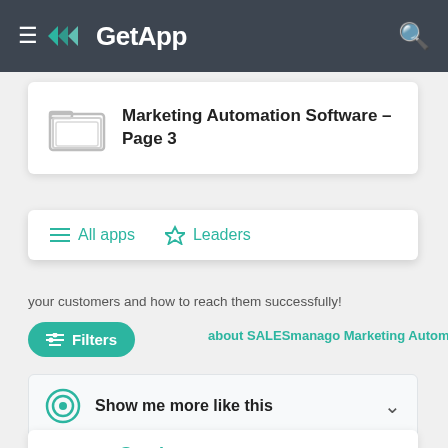GetApp
Marketing Automation Software - Page 3
All apps   Leaders
your customers and how to reach them successfully!
about SALESmanago Marketing Automation
Show me more like this
Sender
CATEGORY LEADERS
4.6 (137)
Email campaign creation, delivery & analysis